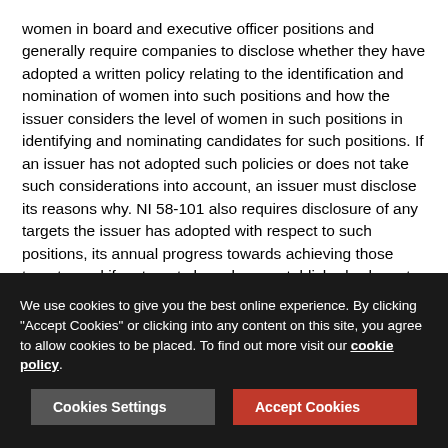women in board and executive officer positions and generally require companies to disclose whether they have adopted a written policy relating to the identification and nomination of women into such positions and how the issuer considers the level of women in such positions in identifying and nominating candidates for such positions. If an issuer has not adopted such policies or does not take such considerations into account, an issuer must disclose its reasons why. NI 58-101 also requires disclosure of any targets the issuer has adopted with respect to such positions, its annual progress towards achieving those targets, and if no targets have been established, why not. Finally, companies must disclose the number, and percentage, of women in board and executive officer positions.
Currently these disclosure requirements only apply to women
We use cookies to give you the best online experience. By clicking "Accept Cookies" or clicking into any content on this site, you agree to allow cookies to be placed. To find out more visit our cookie policy.